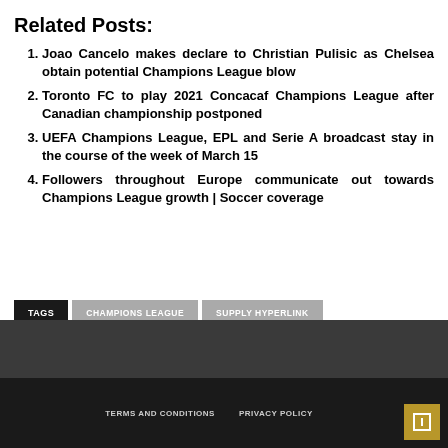Related Posts:
Joao Cancelo makes declare to Christian Pulisic as Chelsea obtain potential Champions League blow
Toronto FC to play 2021 Concacaf Champions League after Canadian championship postponed
UEFA Champions League, EPL and Serie A broadcast stay in the course of the week of March 15
Followers throughout Europe communicate out towards Champions League growth | Soccer coverage
TAGS  CHAMPIONS LEAGUE  SUPPLY HYPERLINK
TERMS AND CONDITIONS  PRIVACY POLICY